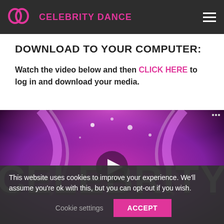CELEBRITY DANCE
DOWNLOAD TO YOUR COMPUTER:
Watch the video below and then CLICK HERE to log in and download your media.
[Figure (screenshot): Video player thumbnail showing the Celebrity Dance logo on a purple/pink glowing background with a play button in the center]
This website uses cookies to improve your experience. We'll assume you're ok with this, but you can opt-out if you wish.
Cookie settings   ACCEPT